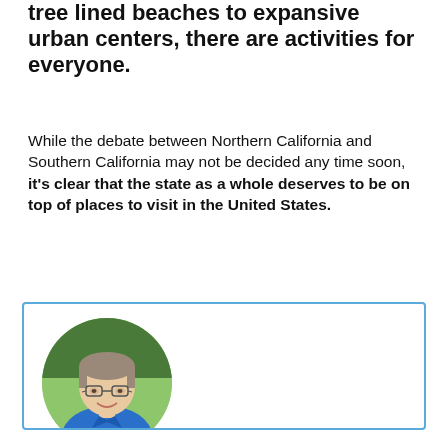tree lined beaches to expansive urban centers, there are activities for everyone.
While the debate between Northern California and Southern California may not be decided any time soon, it's clear that the state as a whole deserves to be on top of places to visit in the United States.
[Figure (photo): Circular portrait photo of a middle-aged woman with glasses, wearing a blue polo shirt, smiling, standing outdoors on green grass. The photo is enclosed in a blue-bordered rectangular card/author box.]